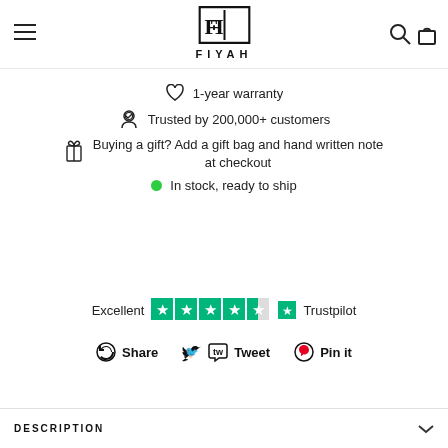[Figure (logo): FIYAH brand logo with stylized FF monogram and text FIYAH below]
1-year warranty
Trusted by 200,000+ customers
Buying a gift? Add a gift bag and hand written note at checkout
In stock, ready to ship
[Figure (other): Trustpilot rating showing Excellent with 4.5 stars and Trustpilot logo]
Share  Tweet  Pin it
DESCRIPTION